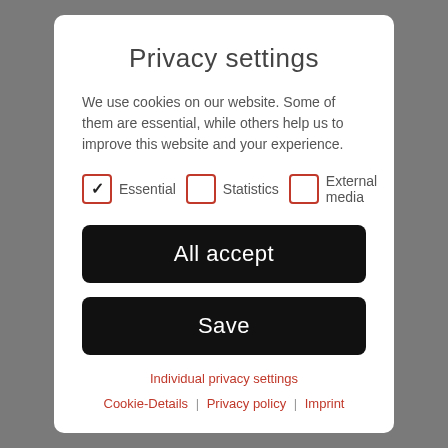Privacy settings
We use cookies on our website. Some of them are essential, while others help us to improve this website and your experience.
Essential (checked), Statistics (unchecked), External media (unchecked)
All accept
Save
Individual privacy settings
Cookie-Details | Privacy policy | Imprint